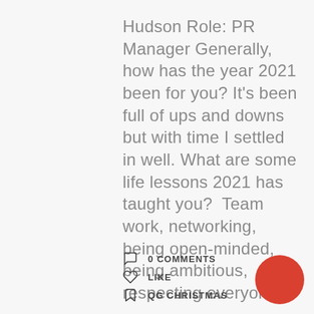Hudson Role: PR Manager Generally, how has the year 2021 been for you? It's been full of ups and downs but with time I settled in well. What are some life lessons 2021 has taught you?  Team work, networking, being open-minded, being ambitious, respecting everyone ...
0 COMMENTS
LIKE
QG CHRISTMAS
[Figure (illustration): Red circle in bottom right corner]